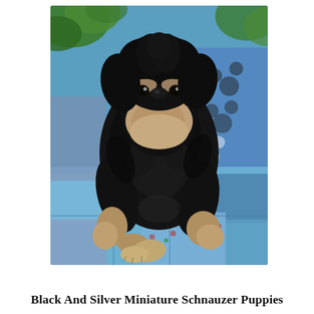[Figure (photo): A black and silver Miniature Schnauzer puppy sitting on a blue patchwork quilt blanket, photographed from the front. The puppy has distinctive Schnauzer features including a prominent beard/muzzle with lighter silver-tan fur, bushy eyebrows, and darker black fur on the body. The paws also show lighter tan coloring. In the background there is a blue and white paw-print patterned fabric and some green foliage.]
Black And Silver Miniature Schnauzer Puppies